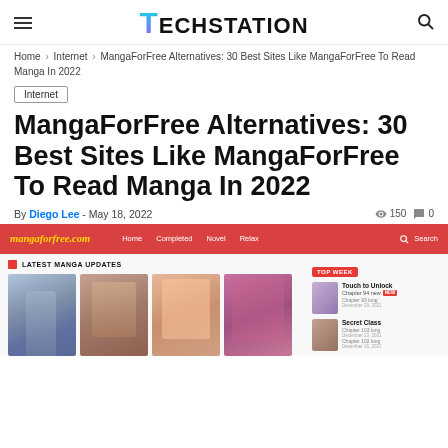TechStation
Home › Internet › MangaForFree Alternatives: 30 Best Sites Like MangaForFree To Read Manga In 2022
Internet
MangaForFree Alternatives: 30 Best Sites Like MangaForFree To Read Manga In 2022
By Diego Lee - May 18, 2022   150   0
[Figure (screenshot): Screenshot of mangaforfree.com website showing the homepage with a red navigation bar containing the logo 'mangaforfree.com', navigation links (Home, Completed, Novel, Relax), and a search bar. Below shows 'LATEST MANGA UPDATES' section with manga thumbnail images, and a right sidebar showing 'TOP WEEK' listings including Touch to Unlock and Secret Class manga titles.]